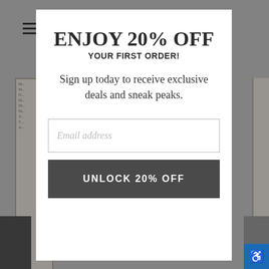[Figure (screenshot): Background webpage with gray surround, hamburger menu icon top-left, framed art product images on left and right sides, navigation arrows at bottom]
ENJOY 20% OFF YOUR FIRST ORDER!
Sign up today to receive exclusive deals and sneak peaks.
Email address
UNLOCK 20% OFF